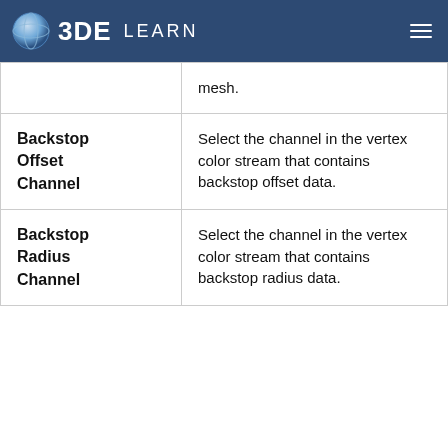O3DE LEARN
| Term | Description |
| --- | --- |
|  | mesh. |
| Backstop Offset Channel | Select the channel in the vertex color stream that contains backstop offset data. |
| Backstop Radius Channel | Select the channel in the vertex color stream that contains backstop radius data. |